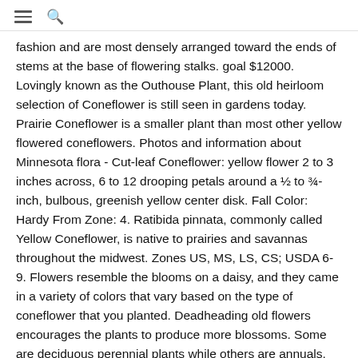≡ 🔍
fashion and are most densely arranged toward the ends of stems at the base of flowering stalks. goal $12000. Lovingly known as the Outhouse Plant, this old heirloom selection of Coneflower is still seen in gardens today. Prairie Coneflower is a smaller plant than most other yellow flowered coneflowers. Photos and information about Minnesota flora - Cut-leaf Coneflower: yellow flower 2 to 3 inches across, 6 to 12 drooping petals around a ½ to ¾-inch, bulbous, greenish yellow center disk. Fall Color: Hardy From Zone: 4. Ratibida pinnata, commonly called Yellow Coneflower, is native to prairies and savannas throughout the midwest. Zones US, MS, LS, CS; USDA 6-9. Flowers resemble the blooms on a daisy, and they came in a variety of colors that vary based on the type of coneflower that you planted. Deadheading old flowers encourages the plants to produce more blossoms. Some are deciduous perennial plants while others are annuals. Like most plant diseases they can occur if conditions are right. Faunal The lovely combination of the prominent central cone and thin golden flower petals makes this Yellow Coneflower